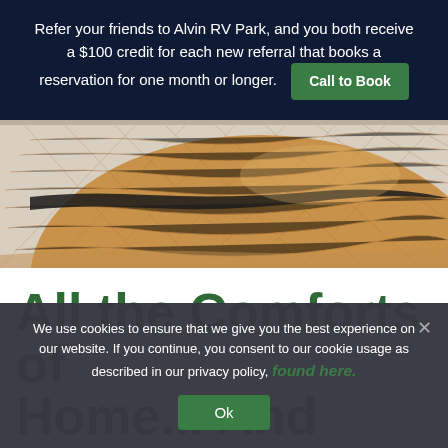Refer your friends to Alvin RV Park, and you both receive a $100 credit for each new referral that books a reservation for one month or longer. Call to Book
[Figure (photo): Close-up photo of a woven straw hat]
All the Comforts of Home... And Then Some!
We use cookies to ensure that we give you the best experience on our website. If you continue, you consent to our cookie usage as described in our privacy policy, found here. Ok